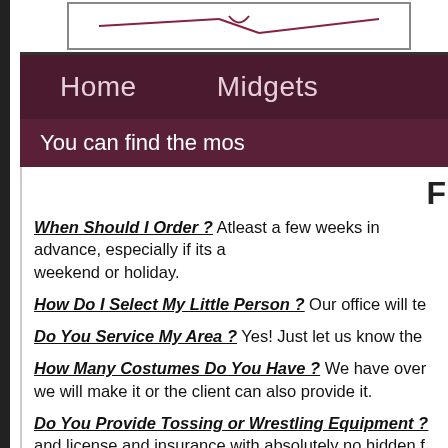[Figure (logo): Website logo bar at top, partially visible]
Home    Midgets
You can find the mos
F
When Should I Order ? Atleast a few weeks in advance, especially if its a weekend or holiday.
How Do I Select My Little Person ? Our office will te
Do You Service My Area ? Yes! Just let us know the
How Many Costumes Do You Have ? We have over... we will make it or the client can also provide it.
Do You Provide Tossing or Wrestling Equipment ? and license and insurance with absolutely no hidden f